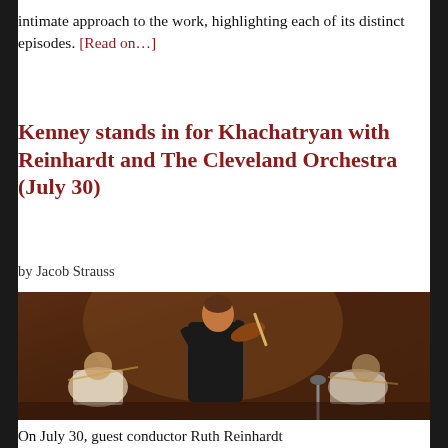intimate approach to the work, highlighting each of its distinct episodes. [Read on…]
Kenney stands in for Khachatryan with Reinhardt and The Cleveland Orchestra (July 30)
by Jacob Strauss
[Figure (photo): A male violinist in a black shirt performs on stage with an orchestra behind him, including string players visible in the background.]
On July 30, guest conductor Ruth Reinhardt